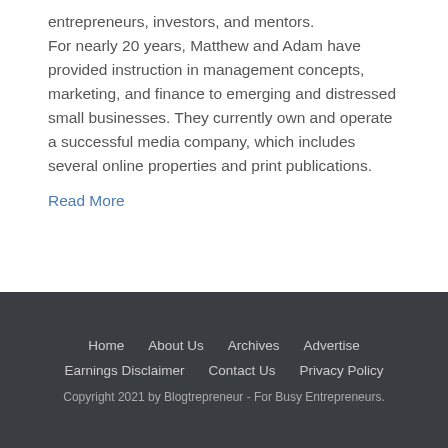entrepreneurs, investors, and mentors. For nearly 20 years, Matthew and Adam have provided instruction in management concepts, marketing, and finance to emerging and distressed small businesses. They currently own and operate a successful media company, which includes several online properties and print publications.
Read More
Home | About Us | Archives | Advertise | Earnings Disclaimer | Contact Us | Privacy Policy | Copyright 2021 by Blogtrepreneur - For Busy Entrepreneurs.